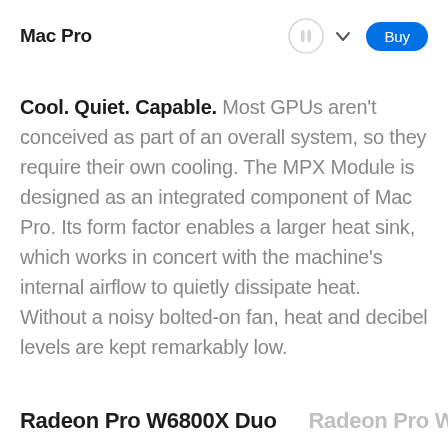Mac Pro
Cool. Quiet. Capable. Most GPUs aren't conceived as part of an overall system, so they require their own cooling. The MPX Module is designed as an integrated component of Mac Pro. Its form factor enables a larger heat sink, which works in concert with the machine's internal airflow to quietly dissipate heat. Without a noisy bolted-on fan, heat and decibel levels are kept remarkably low.
Radeon Pro W6800X Duo
Radeon Pro W